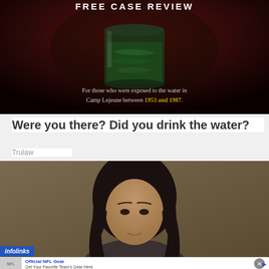[Figure (photo): Dark background legal advertisement showing a glass of water with the headline FREE CASE REVIEW and text about Camp Lejeune water exposure between 1953 and 1987]
Were you there? Did you drink the water?
Trulaw
[Figure (photo): Photo of a person with dark hair against a brown/tan wall background]
infolinks
[Figure (screenshot): Ad banner: Official NFL Gear - Get Your Favorite Team's Gear Here - www.nflshop.com with NFL jersey image and blue arrow button]